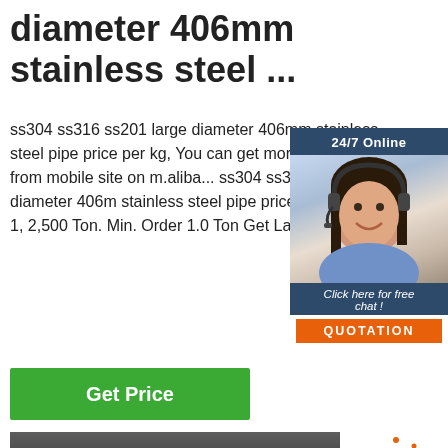diameter 406mm stainless steel ...
ss304 ss316 ss201 large diameter 406mm stainless steel pipe price per kg, You can get more details about from mobile site on m.aliba... ss304 ss316 ss201 large diameter 406mm stainless steel pipe price per kg. US $ 1, 2,500 Ton. Min. Order 1.0 Ton Get Latest Price ON APP.
[Figure (other): Chat widget with 24/7 Online label, customer service representative photo, 'Click here for free chat!' text, and QUOTATION button]
Get Price
[Figure (photo): Stainless steel pipe/sheet industrial product photo showing reflective metal surface in a warehouse or factory setting, with an orange TOP badge overlay]